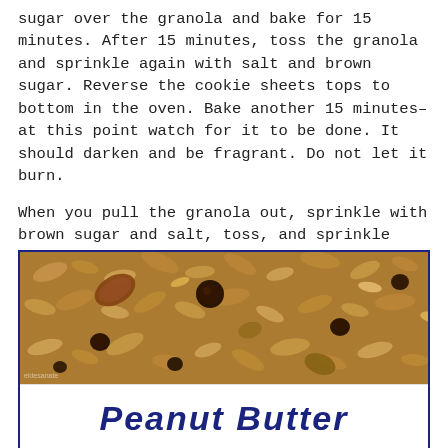sugar over the granola and bake for 15 minutes. After 15 minutes, toss the granola and sprinkle again with salt and brown sugar. Reverse the cookie sheets tops to bottom in the oven. Bake another 15 minutes–at this point watch for it to be done. It should darken and be fragrant. Do not let it burn.
When you pull the granola out, sprinkle with brown sugar and salt, toss, and sprinkle again. Let it cool. Add the chocolate chips and store in an airtight container.
[Figure (photo): Close-up photo of granola with chocolate chips, oats, nuts and dried fruit mixed together, with a dark navy blue border. Below the photo is the beginning of a handwritten-style title reading 'Peanut Butter' in dark blue cursive.]